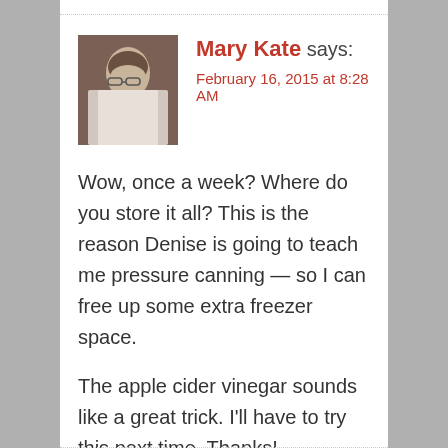Mary Kate says: February 16, 2015 at 8:28 AM
Wow, once a week? Where do you store it all? This is the reason Denise is going to teach me pressure canning — so I can free up some extra freezer space.
The apple cider vinegar sounds like a great trick. I'll have to try this next time. Thanks!
Reply